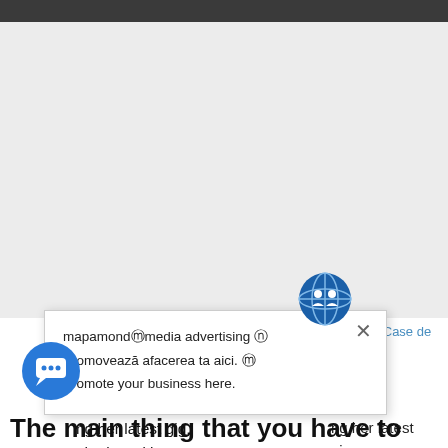[Figure (screenshot): Large white/grey ad space area in upper portion of page]
mente și Case de vânzare
n Sibiu
[Figure (infographic): Popup overlay with globe icon and close X button, containing text: mapamondⓜmedia advertising ⓝ Promovează afacerea ta aici. ⓜ Promote your business here.]
ng her latest gig, n the brand latest Perfectly Fit campaign, which was shot by Lachian Bailey. such a surreal moment cried she admitted.
[Figure (illustration): Blue circular chat bubble icon in bottom-left]
The main thing that you have to